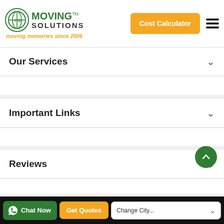[Figure (logo): Moving Solutions logo with globe icon, green text MOVING SOLUTIONS TM, tagline moving memories since 2006]
Our Services
Important Links
Reviews
© All rights reserved 2006 - 2022 Movingsolutions.in
Disclaimer: We only provide references for professional packers and movers in India. Before finalizing any packers and movers or any related vendor, you are advised to verify their credentials on your own. Get everything (quotations) in writing. Don't forget to get the final bill receipt before allowing the movers to handle your move. We won't be responsible for any kind of loss, damage, or injury.
Chat Now | Get Quotes | Change City...